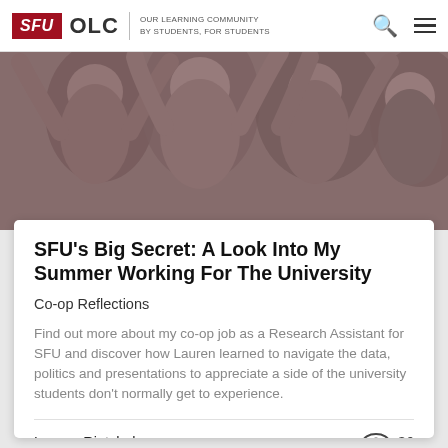SFU OLC | OUR LEARNING COMMUNITY BY STUDENTS, FOR STUDENTS
[Figure (photo): Sepia-toned photo of students cheering and celebrating with arms raised]
SFU's Big Secret: A Look Into My Summer Working For The University
Co-op Reflections
Find out more about my co-op job as a Research Assistant for SFU and discover how Lauren learned to navigate the data, politics and presentations to appreciate a side of the university students don't normally get to experience.
Lauren Rietchel
36